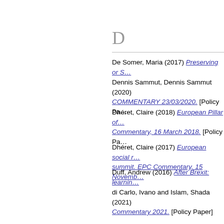D
De Somer, Maria (2017) Preserving or S…
Dennis Sammut, Dennis Sammut (2020) COMMENTARY 23/03/2020. [Policy Pa…
Dhéret, Claire (2018) European Pillar of… Commentary, 16 March 2018. [Policy Pa…
Dhéret, Claire (2017) European social r… summit. EPC Commentary, 15 Novemb…
Duff, Andrew (2016) After Brexit: learnin…
di Carlo, Ivano and Islam, Shada (2021) Commentary 2021. [Policy Paper]